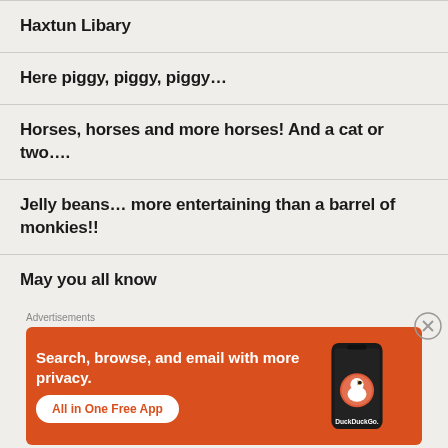Haxtun Libary
Here piggy, piggy, piggy…
Horses, horses and more horses! And a cat or two….
Jelly beans… more entertaining than a barrel of monkies!!
May you all know
[Figure (illustration): DuckDuckGo advertisement banner with orange background showing text 'Search, browse, and email with more privacy. All in One Free App' with a phone mockup and DuckDuckGo logo]